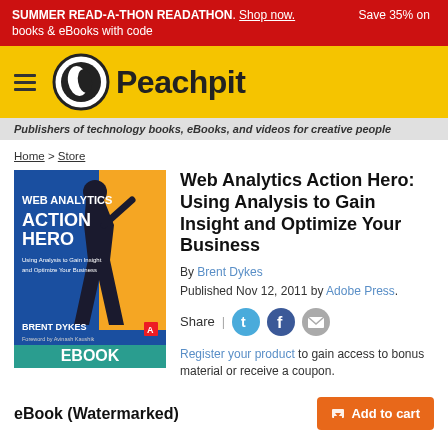SUMMER READ-A-THON READATHON. Shop now. Save 35% on books & eBooks with code
[Figure (logo): Peachpit logo with hamburger menu icon and yellow header background]
Publishers of technology books, eBooks, and videos for creative people
Home > Store
[Figure (illustration): Book cover: Web Analytics Action Hero - Using Analysis to Gain Insight and Optimize Your Business by Brent Dykes, eBook edition]
Web Analytics Action Hero: Using Analysis to Gain Insight and Optimize Your Business
By Brent Dykes
Published Nov 12, 2011 by Adobe Press.
Share |
Register your product to gain access to bonus material or receive a coupon.
eBook (Watermarked)
Add to cart